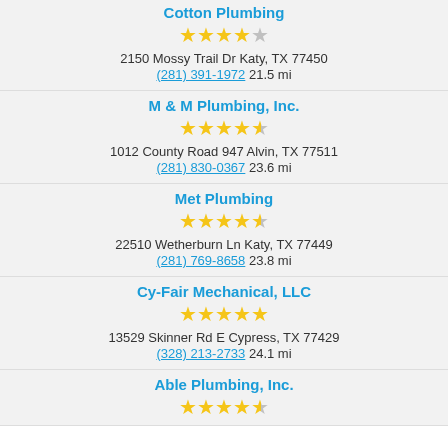Cotton Plumbing
★★★★☆
2150 Mossy Trail Dr Katy, TX 77450
(281) 391-1972 21.5 mi
M & M Plumbing, Inc.
★★★★½
1012 County Road 947 Alvin, TX 77511
(281) 830-0367 23.6 mi
Met Plumbing
★★★★½
22510 Wetherburn Ln Katy, TX 77449
(281) 769-8658 23.8 mi
Cy-Fair Mechanical, LLC
★★★★★
13529 Skinner Rd E Cypress, TX 77429
(328) 213-2733 24.1 mi
Able Plumbing, Inc.
★★★★½